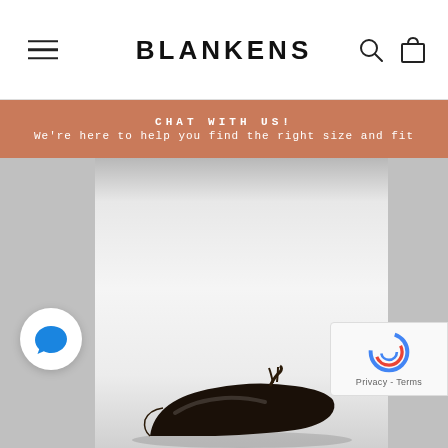BLANKENS — navigation header with hamburger menu, brand name, search and cart icons
CHAT WITH US!
We're here to help you find the right size and fit
[Figure (photo): Product image area showing a dark leather loafer/moccasin shoe with tassel detail against a light grey gradient background, flanked by grey side panels. A chat bubble button is visible at bottom left and a reCAPTCHA badge at bottom right.]